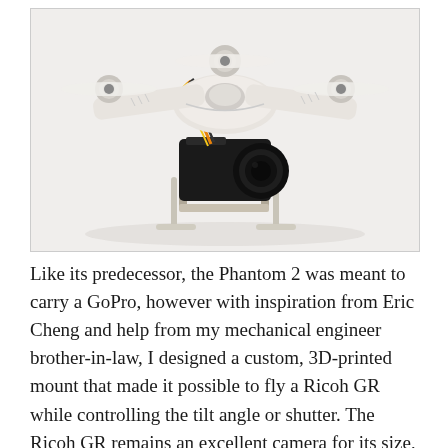[Figure (photo): A white DJI Phantom 2 quadcopter drone with a custom 3D-printed mount holding a black Ricoh GR camera underneath, photographed against a white background. The drone has four arms with propellers and the camera mount is visible below the body with orange/black wiring.]
Like its predecessor, the Phantom 2 was meant to carry a GoPro, however with inspiration from Eric Cheng and help from my mechanical engineer brother-in-law, I designed a custom, 3D-printed mount that made it possible to fly a Ricoh GR while controlling the tilt angle or shutter. The Ricoh GR remains an excellent camera for its size, and weight